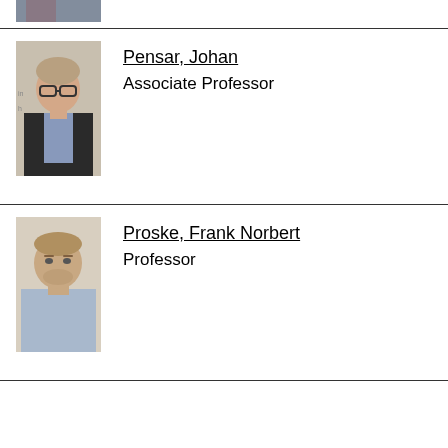[Figure (photo): Partial photo of a person at the top of the page, cropped]
[Figure (photo): Photo of Johan Pensar, a young man with glasses wearing a dark jacket]
Pensar, Johan
Associate Professor
[Figure (photo): Photo of Frank Norbert Proske, a man with short hair wearing a light blue shirt]
Proske, Frank Norbert
Professor